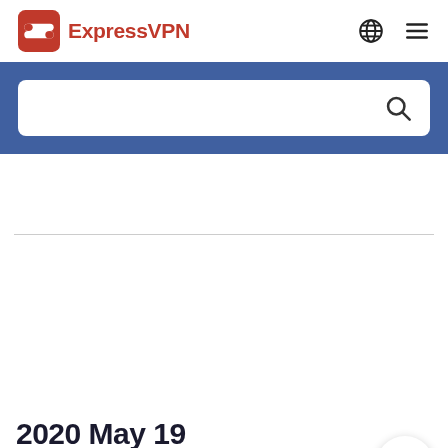[Figure (logo): ExpressVPN logo with red double-arrow icon and red bold text 'ExpressVPN']
[Figure (screenshot): Navigation bar with globe icon and hamburger menu icon on the right]
[Figure (screenshot): Blue search bar section with white rounded search input box containing a search (magnifying glass) icon]
2020 May 19
version 7.9.0
[Figure (other): Circular white chat bubble button in bottom right corner]